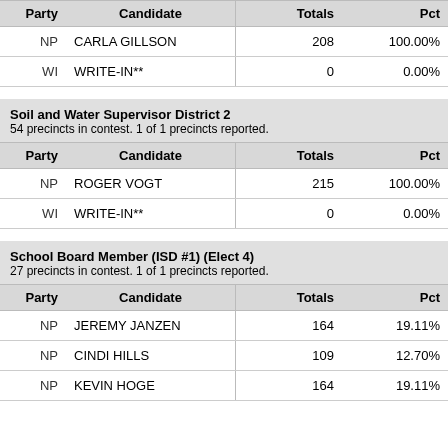| Party | Candidate | Totals | Pct |
| --- | --- | --- | --- |
| NP | CARLA GILLSON | 208 | 100.00% |
| WI | WRITE-IN** | 0 | 0.00% |
Soil and Water Supervisor District 2
54 precincts in contest. 1 of 1 precincts reported.
| Party | Candidate | Totals | Pct |
| --- | --- | --- | --- |
| NP | ROGER VOGT | 215 | 100.00% |
| WI | WRITE-IN** | 0 | 0.00% |
School Board Member (ISD #1) (Elect 4)
27 precincts in contest. 1 of 1 precincts reported.
| Party | Candidate | Totals | Pct |
| --- | --- | --- | --- |
| NP | JEREMY JANZEN | 164 | 19.11% |
| NP | CINDI HILLS | 109 | 12.70% |
| NP | KEVIN HOGE | 164 | 19.11% |